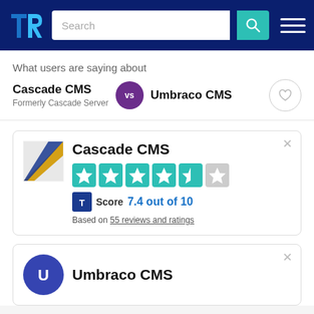[Figure (logo): TrustRadius logo (TR letters in blue) in dark blue navigation bar with search box and hamburger menu]
What users are saying about
Cascade CMS vs Umbraco CMS
Formerly Cascade Server
[Figure (infographic): Cascade CMS card with logo, 4.5 star rating, TrustRadius Score 7.4 out of 10, Based on 55 reviews and ratings]
[Figure (logo): Umbraco CMS card beginning, showing blue circle logo and title]